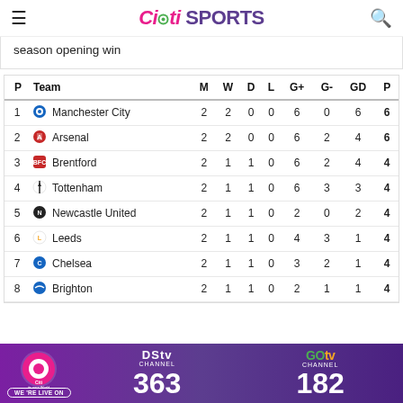Citi SPORTS
season opening win
| P | Team | M | W | D | L | G+ | G- | GD | P |
| --- | --- | --- | --- | --- | --- | --- | --- | --- | --- |
| 1 | Manchester City | 2 | 2 | 0 | 0 | 6 | 0 | 6 | 6 |
| 2 | Arsenal | 2 | 2 | 0 | 0 | 6 | 2 | 4 | 6 |
| 3 | Brentford | 2 | 1 | 1 | 0 | 6 | 2 | 4 | 4 |
| 4 | Tottenham | 2 | 1 | 1 | 0 | 6 | 3 | 3 | 4 |
| 5 | Newcastle United | 2 | 1 | 1 | 0 | 2 | 0 | 2 | 4 |
| 6 | Leeds | 2 | 1 | 1 | 0 | 4 | 3 | 1 | 4 |
| 7 | Chelsea | 2 | 1 | 1 | 0 | 3 | 2 | 1 | 4 |
| 8 | Brighton | 2 | 1 | 1 | 0 | 2 | 1 | 1 | 4 |
[Figure (infographic): DStv Channel 363 and GOtv Channel 182 banner advertisement with Citi Sports logo]